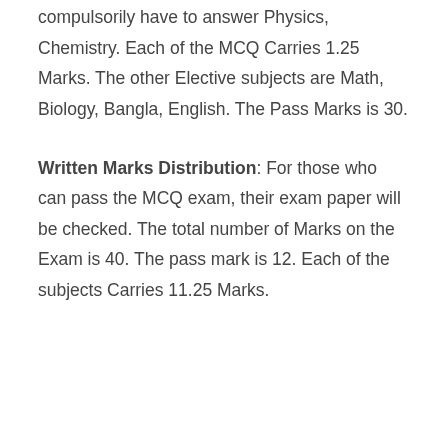compulsorily have to answer Physics, Chemistry. Each of the MCQ Carries 1.25 Marks. The other Elective subjects are Math, Biology, Bangla, English. The Pass Marks is 30.
Written Marks Distribution: For those who can pass the MCQ exam, their exam paper will be checked. The total number of Marks on the Exam is 40. The pass mark is 12. Each of the subjects Carries 11.25 Marks.